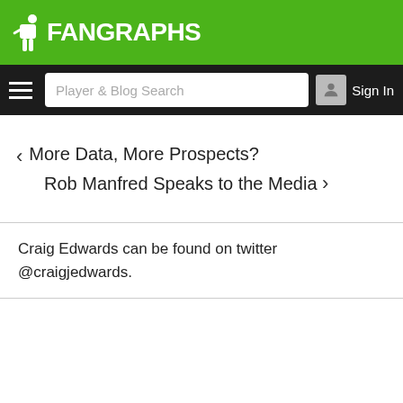FanGraphs
‹ More Data, More Prospects?
    Rob Manfred Speaks to the Media ›
Craig Edwards can be found on twitter @craigjedwards.